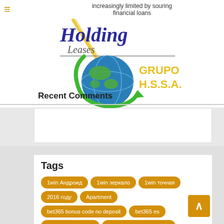increasingly limited by souring financial loans
[Figure (logo): Holding Leases logo with globe graphic and text GRUPO H.S.S.A.]
Recent Comments
Tags
1win Андроид
1win зеркало
1win точная
2016 году
Apartment
bet365 bonus code no deposit
bet365 es
bet365 мобильная
bet365 смотреть онлайн
betcity vk
betcity результаты
Business Development
Casino промокод
House for families
Houzez